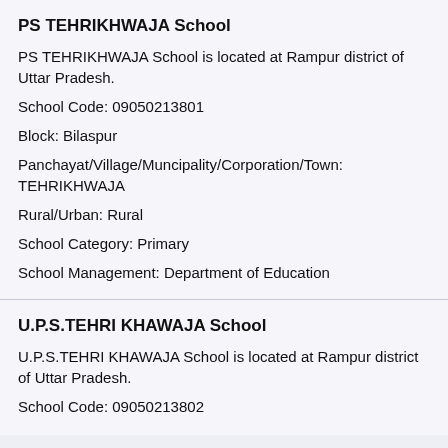PS TEHRIKHWAJA School
PS TEHRIKHWAJA School is located at Rampur district of Uttar Pradesh.
School Code: 09050213801
Block: Bilaspur
Panchayat/Village/Muncipality/Corporation/Town: TEHRIKHWAJA
Rural/Urban: Rural
School Category: Primary
School Management: Department of Education
U.P.S.TEHRI KHAWAJA School
U.P.S.TEHRI KHAWAJA School is located at Rampur district of Uttar Pradesh.
School Code: 09050213802